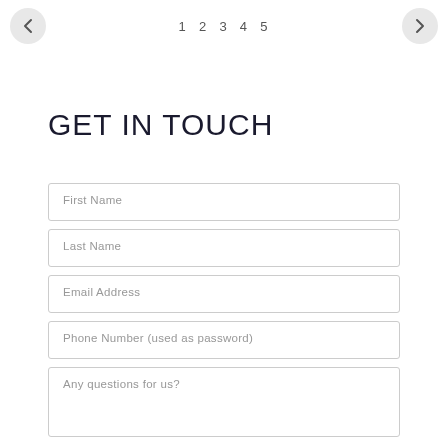< 1 2 3 4 5 >
GET IN TOUCH
First Name
Last Name
Email Address
Phone Number (used as password)
Any questions for us?